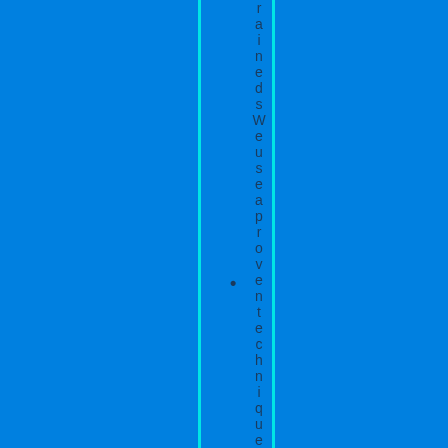• ained s We use a proven technique to